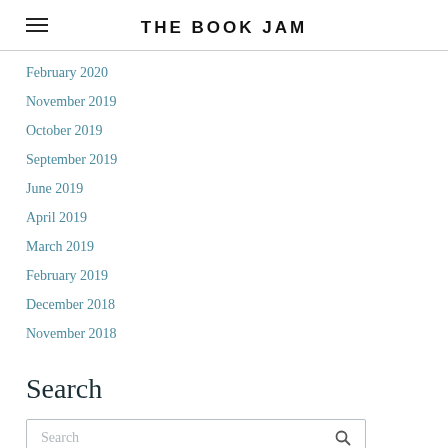THE BOOK JAM
February 2020
November 2019
October 2019
September 2019
June 2019
April 2019
March 2019
February 2019
December 2018
November 2018
Search
Search